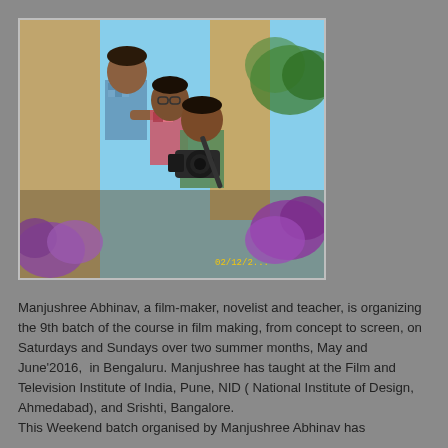[Figure (photo): Three men outdoors near a stone building with purple flowers and blue sky. One man holds a video camera, another assists with equipment. A timestamp '02/12/2...' is visible in the lower right of the photo.]
Manjushree Abhinav, a film-maker, novelist and teacher, is organizing the 9th batch of the course in film making, from concept to screen, on Saturdays and Sundays over two summer months, May and June'2016,  in Bengaluru. Manjushree has taught at the Film and Television Institute of India, Pune, NID ( National Institute of Design, Ahmedabad), and Srishti, Bangalore.
This Weekend batch organised by Manjushree Abhinav has